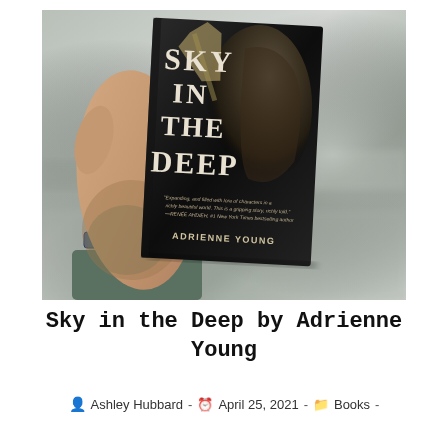[Figure (photo): A hand holding up a hardcover book titled 'Sky in the Deep' by Adrienne Young against a blurred outdoor background. The person has tattoos on their arm and is wearing a green sleeve and a blue watch.]
Sky in the Deep by Adrienne Young
Ashley Hubbard - April 25, 2021 - Books -